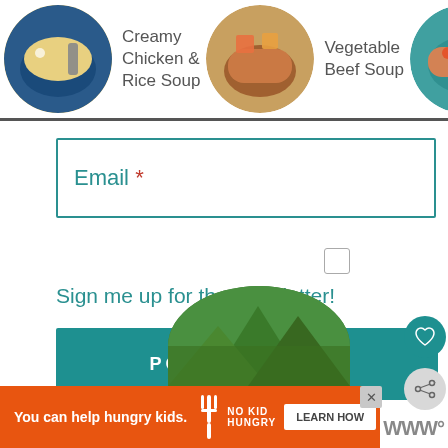[Figure (screenshot): Horizontal carousel of soup recipe cards with circular food photos. Items: Creamy Chicken & Rice Soup, Vegetable Beef Soup, Bacon Black Bean Soup with a right arrow navigation button.]
[Figure (screenshot): Email input field with teal border labeled 'Email *' where * is red]
Sign me up for the newsletter!
[Figure (screenshot): POST COMMENT button in teal, with heart icon button and share icon button on the right side]
[Figure (screenshot): Advertisement banner: orange background with 'You can help hungry kids.' text, No Kid Hungry logo, and LEARN HOW button]
[Figure (photo): Circular profile photo showing green forest/mountain landscape]